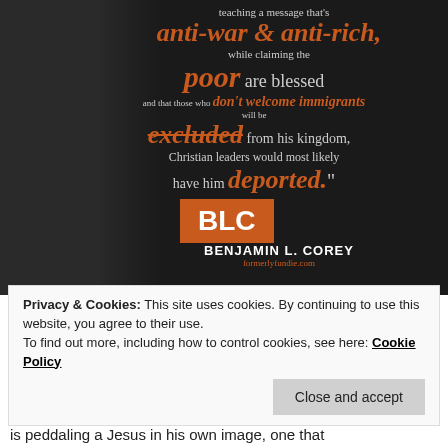[Figure (photo): Dark background image with a man on the left side and an overlaid quote by Benjamin L. Corey from formerlyfundie.com. Text reads: 'teaching a message that's anti-war & anti-rich, while claiming the poor are blessed and that those who don't welcome immigrants will be excluded from his kingdom, Christian leaders would most likely have him deported.' with BLC logo and BENJAMIN L. COREY attribution.]
Privacy & Cookies: This site uses cookies. By continuing to use this website, you agree to their use.
To find out more, including how to control cookies, see here: Cookie Policy
Close and accept
is peddaling a Jesus in his own image, one that